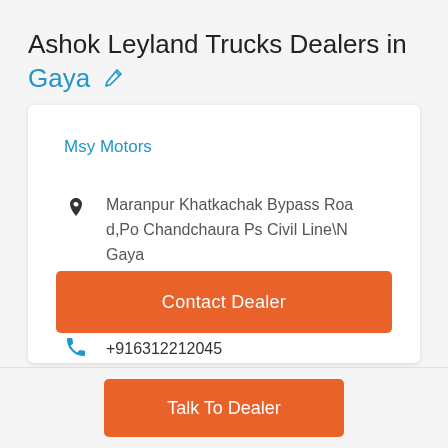Ashok Leyland Trucks Dealers in Gaya
Msy Motors
Maranpur Khatkachak Bypass Road,Po Chandchaura Ps Civil Line\N Gaya
+916312212045
Contact Dealer
Talk To Dealer